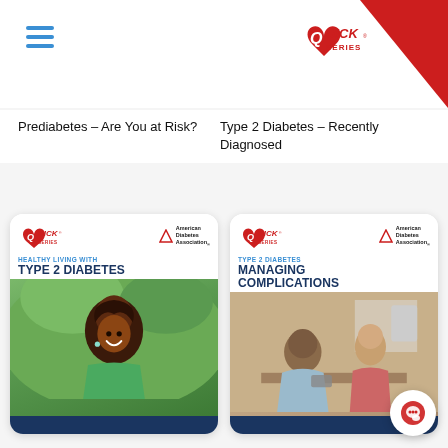Quick Series logo and navigation header
Prediabetes – Are You at Risk?
Type 2 Diabetes – Recently Diagnosed
[Figure (illustration): Book cover: Healthy Living with Type 2 Diabetes – Quick Series and American Diabetes Association logos, smiling woman photo]
[Figure (illustration): Book cover: Type 2 Diabetes Managing Complications – Quick Series and American Diabetes Association logos, doctor with patient photo]